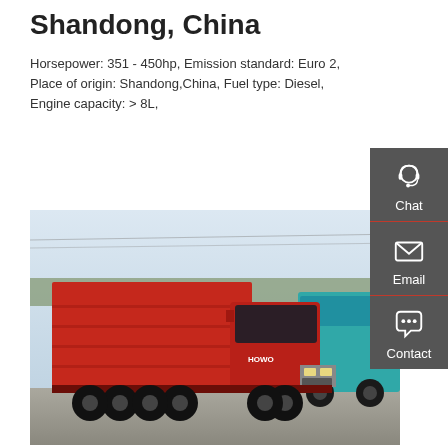Shandong, China
Horsepower: 351 - 450hp, Emission standard: Euro 2, Place of origin: Shandong,China, Fuel type: Diesel, Engine capacity: > 8L,
GET A QUOTE
[Figure (photo): Red HOWO dump truck parked in a lot with a teal dump truck partially visible on the right, trees and sky in background]
[Figure (infographic): Sidebar with Chat (headset icon), Email (envelope icon), and Contact (speech bubble icon) options on dark grey background]